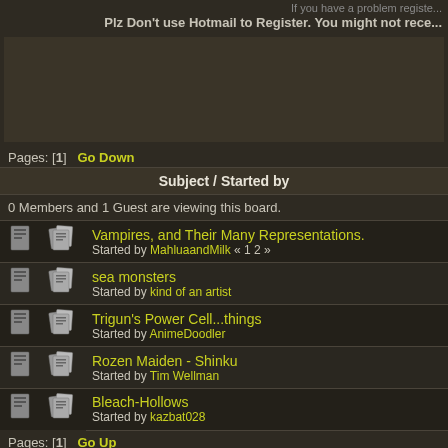If you have a problem registe...
Plz Don't use Hotmail to Register. You might not rece...
[Figure (other): Advertisement banner area]
Pages: [1]   Go Down
| Subject / Started by |
| --- |
| 0 Members and 1 Guest are viewing this board. |
| Vampires, and Their Many Representations.
Started by MahluaandMilk « 1 2 » |
| sea monsters
Started by kind of an artist |
| Trigun's Power Cell...things
Started by AnimeDoodler |
| Rozen Maiden - Shinku
Started by Tim Wellman |
| Bleach-Hollows
Started by kazbat028 |
Pages: [1]   Go Up
MangaRaiders » Manga & Anime » Manga & Anime characters » Monsters